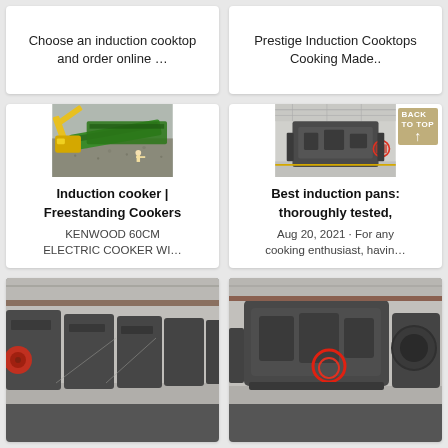Choose an induction cooktop and order online …
Prestige Induction Cooktops Cooking Made..
[Figure (photo): Yellow excavator working on gravel/crushed stone with green industrial machinery, aerial view, worker visible]
[Figure (photo): Large industrial gray crusher/processing machine inside a warehouse facility]
Induction cooker | Freestanding Cookers
KENWOOD 60CM ELECTRIC COOKER WI…
Best induction pans: thoroughly tested,
Aug 20, 2021 · For any cooking enthusiast, havin…
[Figure (photo): Row of large gray industrial crusher machines inside a factory/warehouse]
[Figure (photo): Large gray industrial impact crusher machine with red circle highlight on a component, inside warehouse]